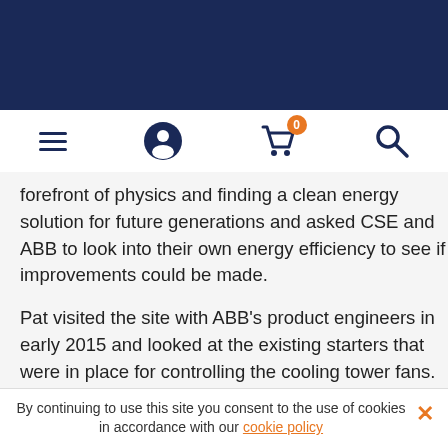Navigation bar with hamburger menu, user icon, shopping cart (0 items), and search icon
forefront of physics and finding a clean energy solution for future generations and asked CSE and ABB to look into their own energy efficiency to see if improvements could be made.
Pat visited the site with ABB's product engineers in early 2015 and looked at the existing starters that were in place for controlling the cooling tower fans. It was clear that the existing two speed starters could be replaced with much more modern ABB ACH550 drives that are variable speed and immediate savings to power bills could be effected.
The team provided detailed calculations to show that
By continuing to use this site you consent to the use of cookies in accordance with our cookie policy